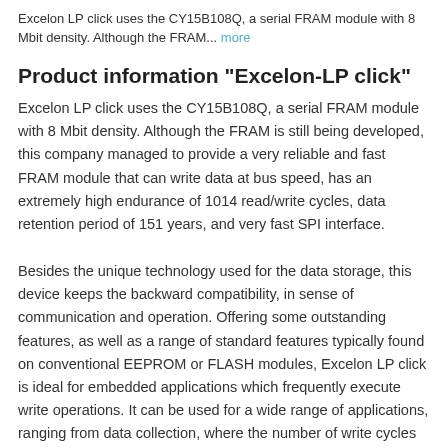Excelon LP click uses the CY15B108Q, a serial FRAM module with 8 Mbit density. Although the FRAM... more
Product information "Excelon-LP click"
Excelon LP click uses the CY15B108Q, a serial FRAM module with 8 Mbit density. Although the FRAM is still being developed, this company managed to provide a very reliable and fast FRAM module that can write data at bus speed, has an extremely high endurance of 1014 read/write cycles, data retention period of 151 years, and very fast SPI interface.
Besides the unique technology used for the data storage, this device keeps the backward compatibility, in sense of communication and operation. Offering some outstanding features, as well as a range of standard features typically found on conventional EEPROM or FLASH modules, Excelon LP click is ideal for embedded applications which frequently execute write operations. It can be used for a wide range of applications, ranging from data collection, where the number of write cycles may be critical, to demanding industrial controls, where lengthy